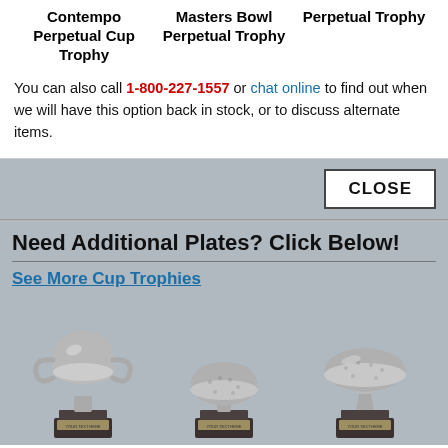Contempo Perpetual Cup Trophy
Masters Bowl Perpetual Trophy
Perpetual Trophy
You can also call 1-800-227-1557 or chat online to find out when we will have this option back in stock, or to discuss alternate items.
CLOSE
Need Additional Plates? Click Below!
See More Cup Trophies
[Figure (photo): Three cup trophy products displayed side by side on dark bases with engraving plates. Left: silver two-handled cup trophy. Center: silver bowl-shaped trophy. Right: silver wide-bowl trophy on pedestal base.]